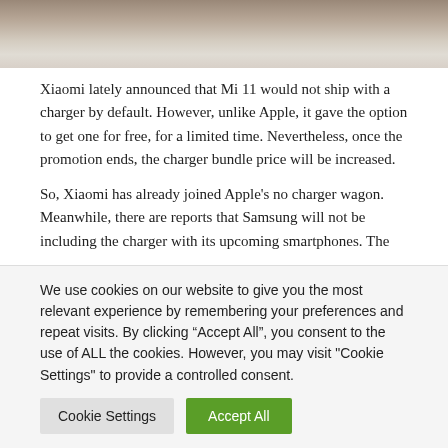[Figure (photo): Partial photo of a device or product, showing light and shadow tones in grays and beiges, cropped at top of page]
Xiaomi lately announced that Mi 11 would not ship with a charger by default. However, unlike Apple, it gave the option to get one for free, for a limited time. Nevertheless, once the promotion ends, the charger bundle price will be increased.
So, Xiaomi has already joined Apple’s no charger wagon. Meanwhile, there are reports that Samsung will not be including the charger with its upcoming smartphones. The
We use cookies on our website to give you the most relevant experience by remembering your preferences and repeat visits. By clicking “Accept All”, you consent to the use of ALL the cookies. However, you may visit "Cookie Settings" to provide a controlled consent.